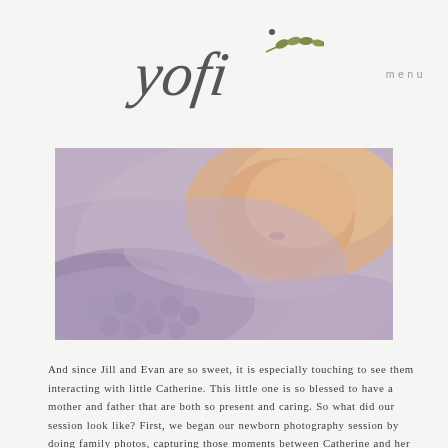[Figure (logo): Yofi script logo with decorative leaf/branch flourish in olive green]
menu
[Figure (photo): Close-up newborn baby photo on lavender/mauve knit blanket with textured bobble detail]
And since Jill and Evan are so sweet, it is especially touching to see them interacting with little Catherine. This little one is so blessed to have a mother and father that are both so present and caring. So what did our session look like? First, we began our newborn photography session by doing family photos, capturing those moments between Catherine and her mom and dad. Then, we gave mom and dad a break and did posed newborn photos with Catherine alone. This newborn did such an amazing job throughout the session! She was happy and even gave us a few sweet smiles during the family portion. Then, when we began her individual posed photos, she was resting and such a joy to